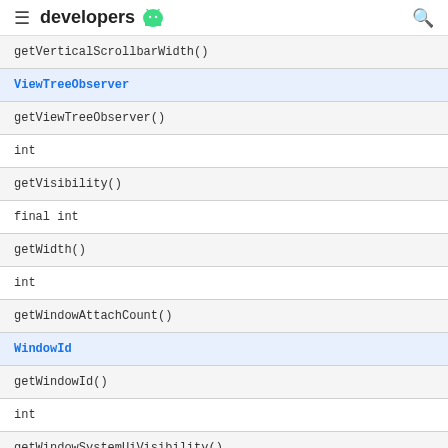developers
| getVerticalScrollbarWidth() |
| ViewTreeObserver |
| getViewTreeObserver() |
| int |
| getVisibility() |
| final int |
| getWidth() |
| int |
| getWindowAttachCount() |
| WindowId |
| getWindowId() |
| int |
| getWindowSystemUiVisibility() |